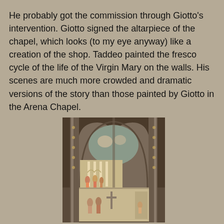He probably got the commission through Giotto's intervention. Giotto signed the altarpiece of the chapel, which looks (to my eye anyway) like a creation of the shop. Taddeo painted the fresco cycle of the life of the Virgin Mary on the walls. His scenes are much more crowded and dramatic versions of the story than those painted by Giotto in the Arena Chapel.
[Figure (photo): Photograph of frescoes in a Gothic chapel interior showing ornate pointed arches with decorative moldings, and multiple fresco panels depicting scenes from the life of the Virgin Mary, painted by Taddeo Gaddi.]